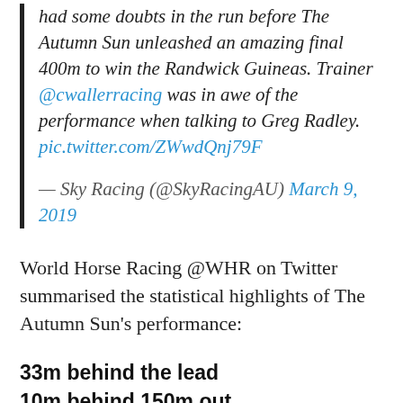had some doubts in the run before The Autumn Sun unleashed an amazing final 400m to win the Randwick Guineas. Trainer @cwallerracing was in awe of the performance when talking to Greg Radley. pic.twitter.com/ZWwdQnj79F
— Sky Racing (@SkyRacingAU) March 9, 2019
World Horse Racing @WHR on Twitter summarised the statistical highlights of The Autumn Sun's performance:
33m behind the lead
10m behind 150m out
22.52s last 400m
11.01s fastest 200m
THE AUTUMN SUN is a special...